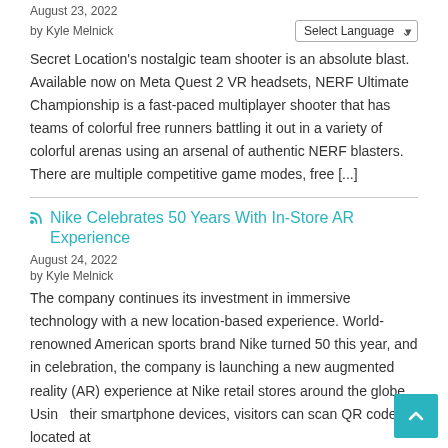August 23, 2022
by Kyle Melnick
Secret Location's nostalgic team shooter is an absolute blast. Available now on Meta Quest 2 VR headsets, NERF Ultimate Championship is a fast-paced multiplayer shooter that has teams of colorful free runners battling it out in a variety of colorful arenas using an arsenal of authentic NERF blasters. There are multiple competitive game modes, free [...]
Nike Celebrates 50 Years With In-Store AR Experience
August 24, 2022
by Kyle Melnick
The company continues its investment in immersive technology with a new location-based experience. World-renowned American sports brand Nike turned 50 this year, and in celebration, the company is launching a new augmented reality (AR) experience at Nike retail stores around the globe. Using their smartphone devices, visitors can scan QR codes located at